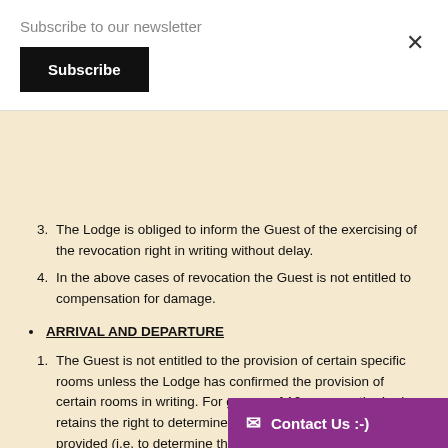Subscribe to our newsletter
Subscribe
3. The Lodge is obliged to inform the Guest of the exercising of the revocation right in writing without delay.
4. In the above cases of revocation the Guest is not entitled to compensation for damage.
ARRIVAL AND DEPARTURE
1. The Guest is not entitled to the provision of certain specific rooms unless the Lodge has confirmed the provision of certain rooms in writing. For groups of 10 or more, the Lodge retains the right to determine the type of accommodation provided (i.e. to determine the allocation of singles, doubles and multi-bed rooms). The Lodge will, however, take the guest requests into consideration and do its best to grant them when possible. The exact apportionment of rooms will be provided in the booking confirmation.